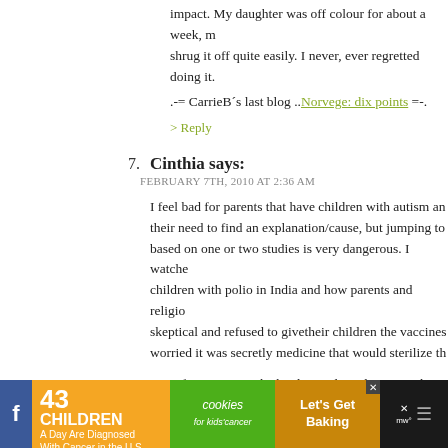impact. My daughter was off colour for about a week, m shrug it off quite easily. I never, ever regretted doing it.
.-= CarrieB´s last blog ..Norvege: dix points =-.
> Reply
7. Cinthia says: FEBRUARY 7TH, 2010 AT 2:36 AM
I feel bad for parents that have children with autism an their need to find an explanation/cause, but jumping to based on one or two studies is very dangerous. I watche children with polio in India and how parents and religio skeptical and refused to givetheir children the vaccines worried it was secretly medicine that would sterilize th
Misinformation can be hard to undo and I worry about effects of this previous study, retraction or no.
> Reply
8. Lesley O says:
[Figure (other): Advertisement banner: orange section reading '43 CHILDREN A Day Are Diagnosed With Cancer in the U.S.', green cookies for kids cancer logo, brown section reading 'Let's Get Baking', with close button and social media icons]